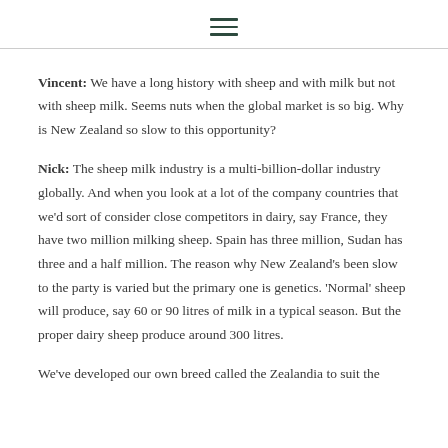[hamburger menu icon]
Vincent: We have a long history with sheep and with milk but not with sheep milk. Seems nuts when the global market is so big. Why is New Zealand so slow to this opportunity?
Nick: The sheep milk industry is a multi-billion-dollar industry globally. And when you look at a lot of the company countries that we'd sort of consider close competitors in dairy, say France, they have two million milking sheep. Spain has three million, Sudan has three and a half million. The reason why New Zealand's been slow to the party is varied but the primary one is genetics. 'Normal' sheep will produce, say 60 or 90 litres of milk in a typical season. But the proper dairy sheep produce around 300 litres.
We've developed our own breed called the Zealandia to suit the